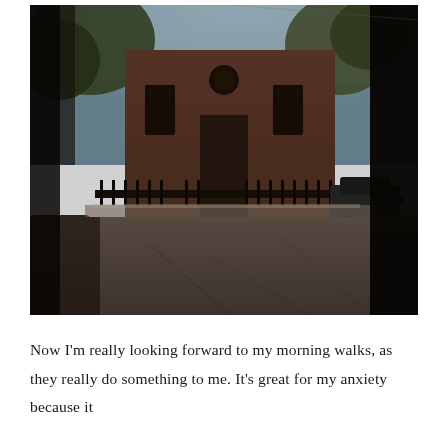[Figure (photo): Street scene photograph showing a wide road in the foreground, a historic red brick Gothic-style church or building with arched windows and iron fence in the middle ground, flanked by trees and cars, with a dark foreground element on the right edge framing the shot. Warm, moody, desaturated tones.]
Now I'm really looking forward to my morning walks, as they really do something to me. It's great for my anxiety because it